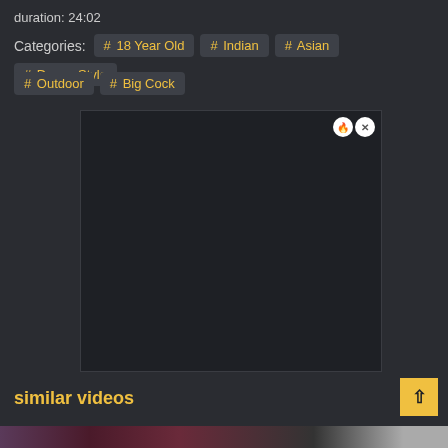duration: 24:02
Categories: # 18 Year Old  # Indian  # Asian  # Doggy Style  # Outdoor  # Big Cock
[Figure (other): Dark advertisement/embed box with close buttons (fire icon and X) in top-right corner]
similar videos